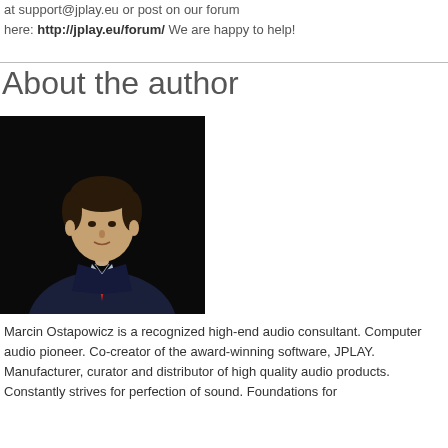at support@jplay.eu or post on our forum here: http://jplay.eu/forum/ We are happy to help!
About the author
[Figure (photo): Portrait photo of Marcin Ostapowicz, a man in a dark navy suit with a red pocket square, against a black background.]
Marcin Ostapowicz is a recognized high-end audio consultant. Computer audio pioneer. Co-creator of the award-winning software, JPLAY. Manufacturer, curator and distributor of high quality audio products. Constantly strives for perfection of sound. Foundations for